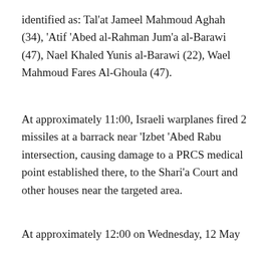identified as: Tal'at Jameel Mahmoud Aghah (34), 'Atif 'Abed al-Rahman Jum'a al-Barawi (47), Nael Khaled Yunis al-Barawi (22), Wael Mahmoud Fares Al-Ghoula (47).
At approximately 11:00, Israeli warplanes fired 2 missiles at a barrack near 'Izbet 'Abed Rabu intersection, causing damage to a PRCS medical point established there, to the Shari'a Court and other houses near the targeted area.
At approximately 12:00 on Wednesday, 12 May